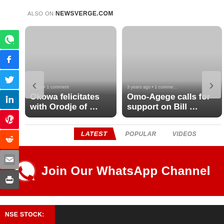ALSO ON NEWSVERGE.COM
[Figure (screenshot): Card 1: Okowa felicitates with Orodje of ... — 3 years ago, 1 comment]
[Figure (screenshot): Card 2: Omo-Agege calls for support on Bill ... — 3 years ago, 1 comment]
LATEST   POPULAR   VIDEOS
[Figure (infographic): Join Our WhatsApp Channel banner (red background with WhatsApp icon)]
NSE STOCK: